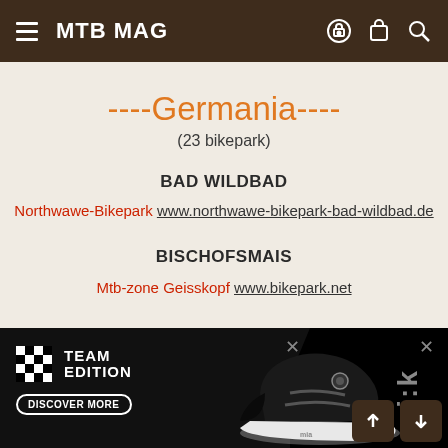MTB MAG
----Germania----
(23 bikepark)
BAD WILDBAD
Northwawe-Bikepark www.northwawe-bikepark-bad-wildbad.de
BISCHOFSMAIS
Mtb-zone Geisskopf www.bikepark.net
[Figure (screenshot): Advertisement banner for TEAM EDITION cycling shoes with black background, shoe image, checkerboard logo, DISCOVER MORE button, and close buttons]